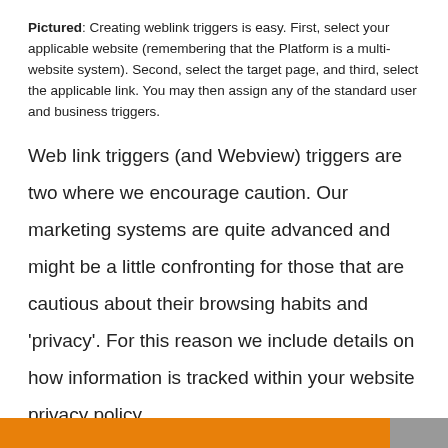Pictured: Creating weblink triggers is easy. First, select your applicable website (remembering that the Platform is a multi-website system). Second, select the target page, and third, select the applicable link. You may then assign any of the standard user and business triggers.
Web link triggers (and Webview) triggers are two where we encourage caution. Our marketing systems are quite advanced and might be a little confronting for those that are cautious about their browsing habits and 'privacy'. For this reason we include details on how information is tracked within your website privacy policy.
Telco Email & Admin Email Triggers